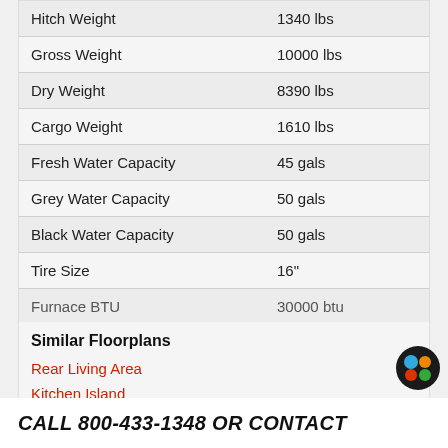| Specification | Value |
| --- | --- |
| Hitch Weight | 1340 lbs |
| Gross Weight | 10000 lbs |
| Dry Weight | 8390 lbs |
| Cargo Weight | 1610 lbs |
| Fresh Water Capacity | 45 gals |
| Grey Water Capacity | 50 gals |
| Black Water Capacity | 50 gals |
| Tire Size | 16" |
| Furnace BTU | 30000 btu |
Similar Floorplans
Rear Living Area
Kitchen Island
Front Bedroom
CALL 800-433-1348 OR CONTACT